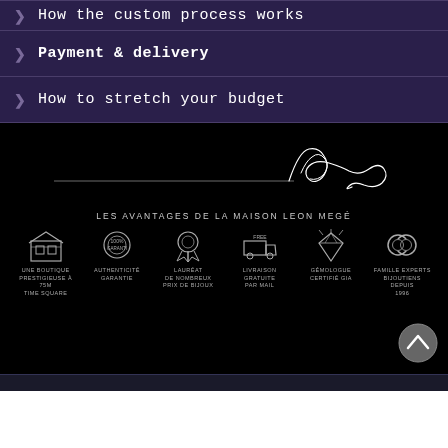❯ How the custom process works
❯ Payment & delivery
❯ How to stretch your budget
[Figure (illustration): Cursive signature of Leon Megé over a horizontal line on black background]
LES AVANTAGES DE LA MAISON LEON MEGÉ
[Figure (infographic): Six icons in a row: boutique store (UNE BOUTIQUE PRESTIGIEUSE À 75M TIME SQUARE), medal (AUTHENTICITÉ GARANTIE), award ribbon (LAURÉAT DE NOMBREUX PRIX DE BIJOUX), delivery truck (LIVRAISON GRATUITE PAR MAIL), diamond (GÉMOLOGUE CERTIFIÉ GIA), rings (FAMILLE EXPERTS BIJOUTIENS DEPUIS 1996)]